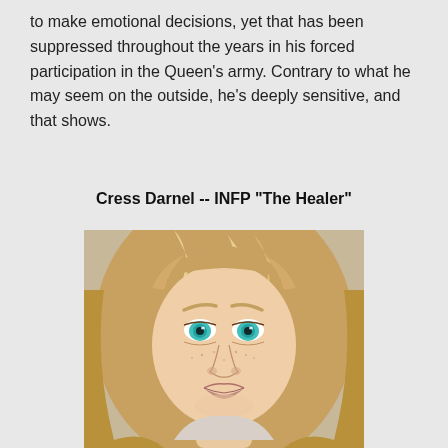to make emotional decisions, yet that has been suppressed throughout the years in his forced participation in the Queen's army. Contrary to what he may seem on the outside, he's deeply sensitive, and that shows.
Cress Darnel -- INFP "The Healer"
[Figure (illustration): Digital illustration of a young woman with long blonde wavy hair, teal/turquoise eyes, freckles, and a slight smile, rendered in a fantasy art style.]